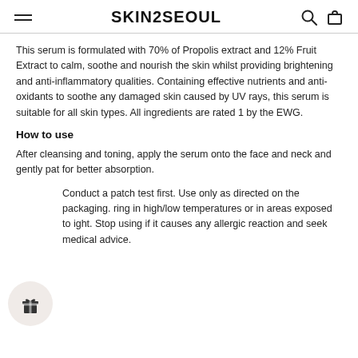SKIN2SEOUL
This serum is formulated with 70% of Propolis extract and 12% Fruit Extract to calm, soothe and nourish the skin whilst providing brightening and anti-inflammatory qualities. Containing effective nutrients and anti-oxidants to soothe any damaged skin caused by UV rays, this serum is suitable for all skin types. All ingredients are rated 1 by the EWG.
How to use
After cleansing and toning, apply the serum onto the face and neck and gently pat for better absorption.
Conduct a patch test first. Use only as directed on the packaging. ring in high/low temperatures or in areas exposed to ight. Stop using if it causes any allergic reaction and seek medical advice.